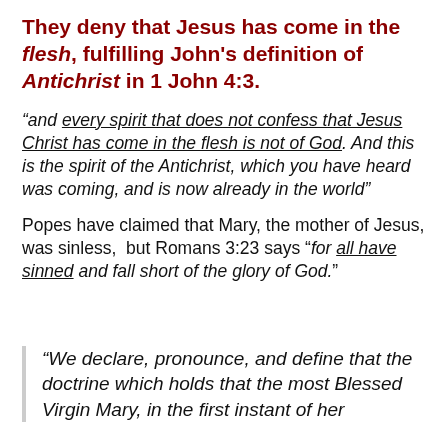They deny that Jesus has come in the flesh, fulfilling John's definition of Antichrist in 1 John 4:3.
"and every spirit that does not confess that Jesus Christ has come in the flesh is not of God. And this is the spirit of the Antichrist, which you have heard was coming, and is now already in the world"
Popes have claimed that Mary, the mother of Jesus, was sinless,  but Romans 3:23 says "for all have sinned and fall short of the glory of God."
“We declare, pronounce, and define that the doctrine which holds that the most Blessed Virgin Mary, in the first instant of her...